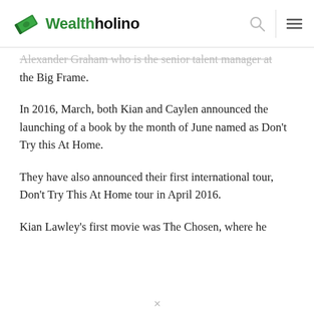Wealtholino
Alexander Graham who is the senior talent manager at the Big Frame.
In 2016, March, both Kian and Caylen announced the launching of a book by the month of June named as Don't Try this At Home.
They have also announced their first international tour, Don't Try This At Home tour in April 2016.
Kian Lawley's first movie was The Chosen, where he